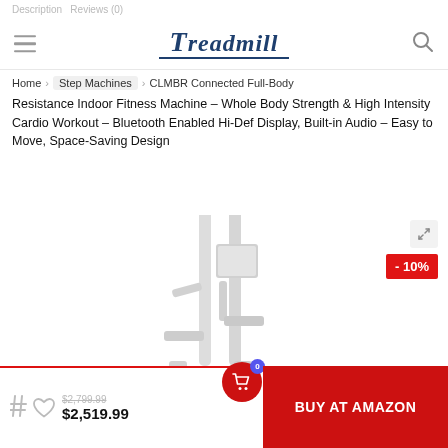Description  Reviews (0)
Treadmill
Home > Step Machines > CLMBR Connected Full-Body Resistance Indoor Fitness Machine – Whole Body Strength & High Intensity Cardio Workout – Bluetooth Enabled Hi-Def Display, Built-in Audio – Easy to Move, Space-Saving Design
[Figure (photo): Step climbing fitness machine (CLMBR) shown in light gray/silver color against white background, partially visible]
- 10%
$2,519.99
BUY AT AMAZON